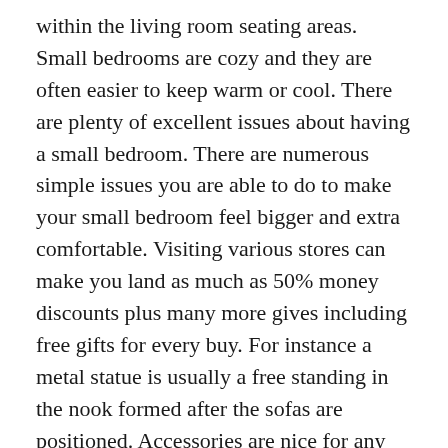within the living room seating areas. Small bedrooms are cozy and they are often easier to keep warm or cool. There are plenty of excellent issues about having a small bedroom. There are numerous simple issues you are able to do to make your small bedroom feel bigger and extra comfortable. Visiting various stores can make you land as much as 50% money discounts plus many more gives including free gifts for every buy. For instance a metal statue is usually a free standing in the nook formed after the sofas are positioned. Accessories are nice for any form of dwelling decorating.
So little experimentation can offer you tons of information and experience in house decorating if you actually need to do it. Even if you're on a budget, little design and decorating changes can make a huge